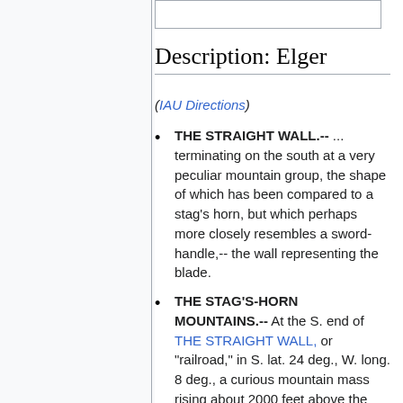[Figure (other): Partial image box at top of content area]
Description: Elger
(IAU Directions)
THE STRAIGHT WALL.-- ... terminating on the south at a very peculiar mountain group, the shape of which has been compared to a stag's horn, but which perhaps more closely resembles a sword-handle,-- the wall representing the blade.
THE STAG'S-HORN MOUNTAINS.-- At the S. end of THE STRAIGHT WALL, or "railroad," in S. lat. 24 deg., W. long. 8 deg., a curious mountain mass rising about 2000 feet above the Mare Nubium.